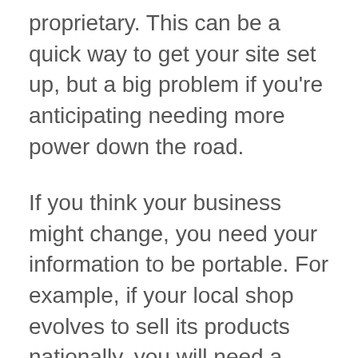proprietary. This can be a quick way to get your site set up, but a big problem if you're anticipating needing more power down the road.
If you think your business might change, you need your information to be portable. For example, if your local shop evolves to sell its products nationally, you will need a change in technology strategy. Obviously, here at Caldera WP, we are a WordPress product company and we are biased towards WordPress. But, most major